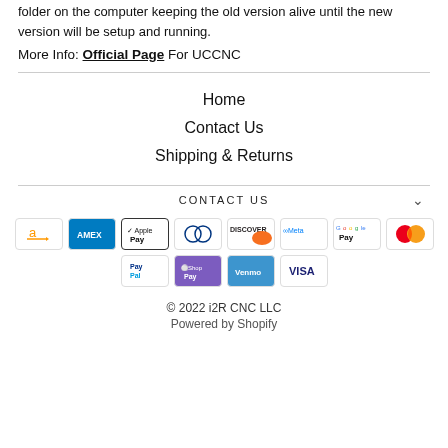folder on the computer keeping the old version alive until the new version will be setup and running.
More Info: Official Page For UCCNC
Home
Contact Us
Shipping & Returns
CONTACT US
[Figure (other): Payment method icons: Amazon, American Express, Apple Pay, Diners Club, Discover, Meta Pay, Google Pay, Mastercard, PayPal, Shop Pay, Venmo, Visa]
© 2022 i2R CNC LLC
Powered by Shopify